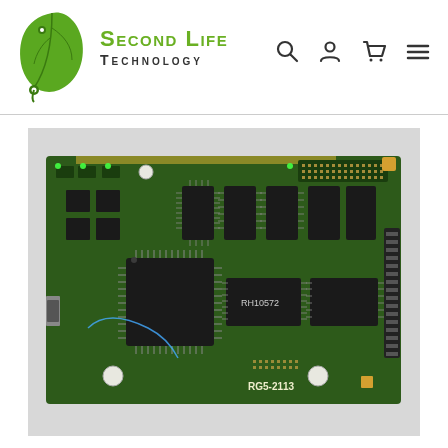Second Life Technology
[Figure (photo): Green circuit board (PCB) with multiple integrated circuit chips, memory modules, a USB connector on the left side, and a connector on the right side. Board label reads RG5-2113 and chip label reads RH10572.]